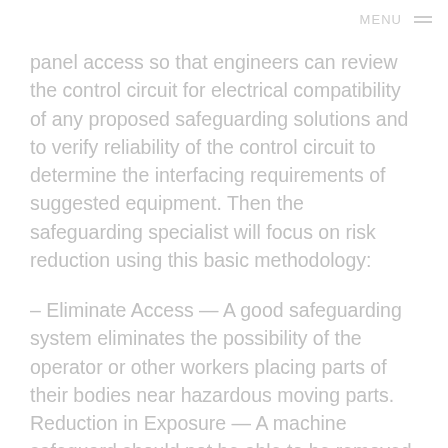MENU
panel access so that engineers can review the control circuit for electrical compatibility of any proposed safeguarding solutions and to verify reliability of the control circuit to determine the interfacing requirements of suggested equipment. Then the safeguarding specialist will focus on risk reduction using this basic methodology:
– Eliminate Access — A good safeguarding system eliminates the possibility of the operator or other workers placing parts of their bodies near hazardous moving parts.
Reduction in Exposure — A machine safeguard should not be able to be removed, bypassed or